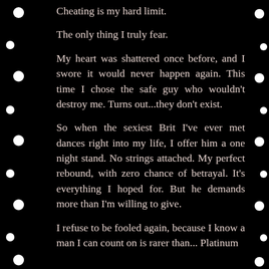Cheating is my hard limit.
The only thing I truly fear.
My heart was shattered once before, and I swore it would never happen again. This time I chose the safe guy who wouldn't destroy me. Turns out...they don't exist.
So when the sexiest Brit I've ever met dances right into my life, I offer him a one night stand. No strings attached. My perfect rebound, with zero chance of betrayal. It's everything I hoped for. But he demands more than I'm willing to give.
I refuse to be fooled again, because I know a man I can count on is rarer than... Platinum